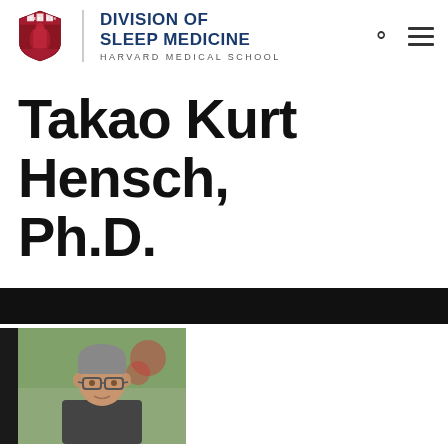[Figure (logo): Harvard Medical School Division of Sleep Medicine shield logo with red and white crest, vertical divider, and text 'DIVISION OF SLEEP MEDICINE / HARVARD MEDICAL SCHOOL' in dark blue, plus search and menu icons on the right]
Takao Kurt Hensch, Ph.D.
[Figure (photo): Black horizontal bar followed by a partial headshot of a man wearing glasses, with white/grey background to the right. Dark left accent bar.]